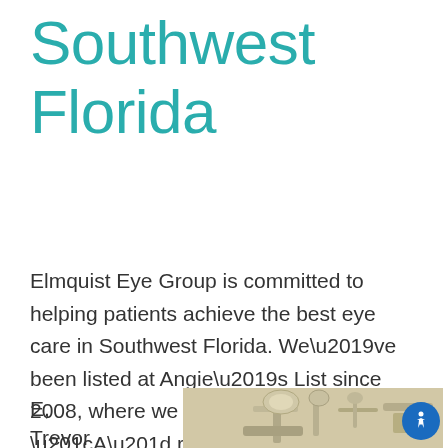Southwest Florida
Elmquist Eye Group is committed to helping patients achieve the best eye care in Southwest Florida. We’ve been listed at Angie’s List since 2008, where we have maintained an “A” rating and are one of very few ophthalmology and optometry practices in the region to perform well enough to earn their Super Service Award.
E,
Trevor
[Figure (photo): Partial view of optometry/ophthalmology equipment (slit lamp or phoropter) in a clinical setting with a light-colored wall background]